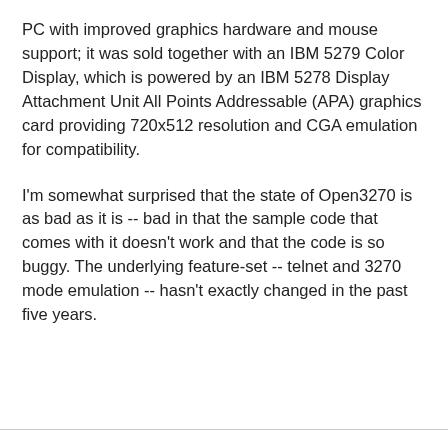PC with improved graphics hardware and mouse support; it was sold together with an IBM 5279 Color Display, which is powered by an IBM 5278 Display Attachment Unit All Points Addressable (APA) graphics card providing 720x512 resolution and CGA emulation for compatibility.
I'm somewhat surprised that the state of Open3270 is as bad as it is -- bad in that the sample code that comes with it doesn't work and that the code is so buggy. The underlying feature-set -- telnet and 3270 mode emulation -- hasn't exactly changed in the past five years.